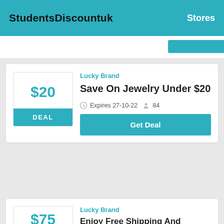StudentsDiscountuk   Stores
Lucky Brand
Save On Jewelry Under $20
Expires 27-10-22   84
Get Deal
Lucky Brand
Enjoy Free Shipping And Returns On All Orders $75+ Shop Now At Lucky Brands